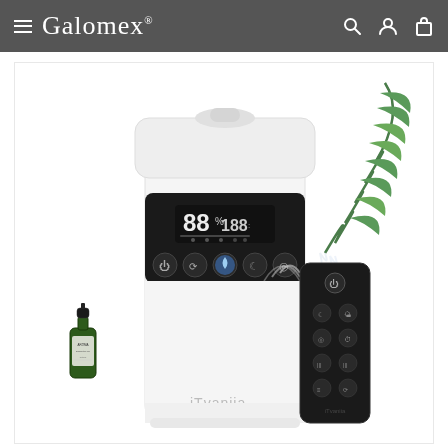Galomex
[Figure (photo): iTvanila brand humidifier/diffuser with digital display showing 88% humidity and 188 timer, touch control buttons, remote control, small essential oil bottle, and green palm leaves in background. White body with black control panel.]